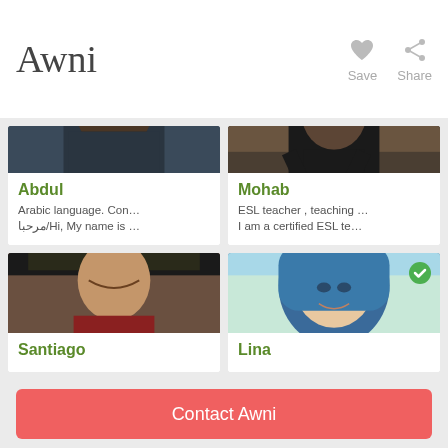Awni
Save
Share
[Figure (photo): Profile photo of Abdul, a man with beard in dark suit jacket]
Abdul
Arabic language. Con…
مرحبا/Hi, My name is …
[Figure (photo): Profile photo of Mohab, a man with arms crossed in dark clothing]
Mohab
ESL teacher , teaching …
I am a certified ESL te…
[Figure (photo): Profile photo of Santiago, smiling man in red checked shirt]
Santiago
[Figure (photo): Profile photo of Lina, woman in colorful hijab with verified badge]
Lina
Contact Awni